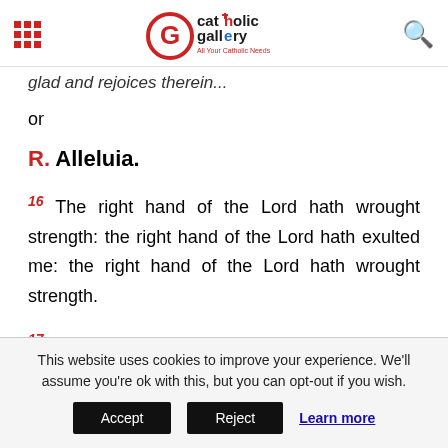Catholic Gallery – All Your Catholic Needs
glad and rejoices therein...
or
R. Alleluia.
16 The right hand of the Lord hath wrought strength: the right hand of the Lord hath exulted me: the right hand of the Lord hath wrought strength.
17 I shall not die, but live: and shall declare the works of the Lord.
This website uses cookies to improve your experience. We'll assume you're ok with this, but you can opt-out if you wish. Accept Reject Learn more